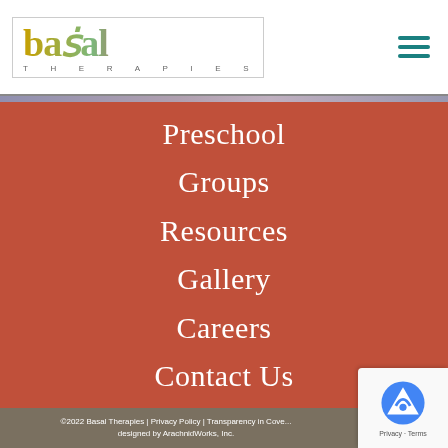[Figure (logo): Basal Therapies logo with colorful lettering and decorative plant element, inside a bordered box]
Preschool
Groups
Resources
Gallery
Careers
Contact Us
©2022 Basal Therapies | Privacy Policy | Transparency in Cove... designed by ArachnidWorks, Inc.